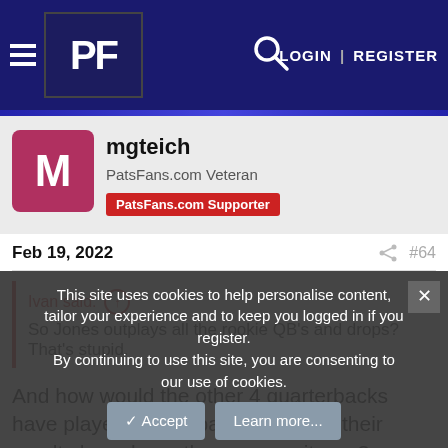PF LOGIN | REGISTER
mgteich
PatsFans.com Veteran  PatsFans.com Supporter
Feb 19, 2022  #64
Ivan said: So Jones outplays all the rookie QB's and drops? That's stupid.
And how would the other 4 quarterbacks have played for the patriots. Would their results have been the same as it was?

What if Jones were drafted 2nd or 3rd? Wouldn't you now be saying that Jones was a bust. Or do you think that Jones would
This site uses cookies to help personalise content, tailor your experience and to keep you logged in if you register.
By continuing to use this site, you are consenting to our use of cookies.